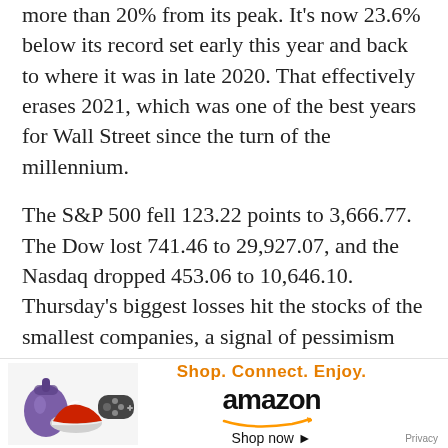more than 20% from its peak. It's now 23.6% below its record set early this year and back to where it was in late 2020. That effectively erases 2021, which was one of the best years for Wall Street since the turn of the millennium.
The S&P 500 fell 123.22 points to 3,666.77. The Dow lost 741.46 to 29,927.07, and the Nasdaq dropped 453.06 to 10,646.10. Thursday's biggest losses hit the stocks of the smallest companies, a signal of pessimism about the economy's strength. The Russell 2000 index of smaller stocks sank 81.30, or 4.7%, to 1,649.84.
Not only is the Federal Reserve hiking short-term rates, [ad overlay] of the tr[ad overlay]
[Figure (other): Amazon advertisement banner with illustrated shopping items (purple bag, red sneaker, game controller), tagline 'Shop. Connect. Enjoy.', 'Shop now ▸' call to action, Amazon logo with smile, and Privacy link.]